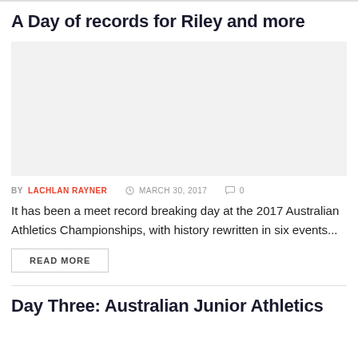A Day of records for Riley and more
[Figure (photo): Large placeholder image area (light grey background), associated with the article about meet records at 2017 Australian Athletics Championships.]
BY LACHLAN RAYNER   MARCH 30, 2017   0
It has been a meet record breaking day at the 2017 Australian Athletics Championships, with history rewritten in six events...
READ MORE
Day Three: Australian Junior Athletics